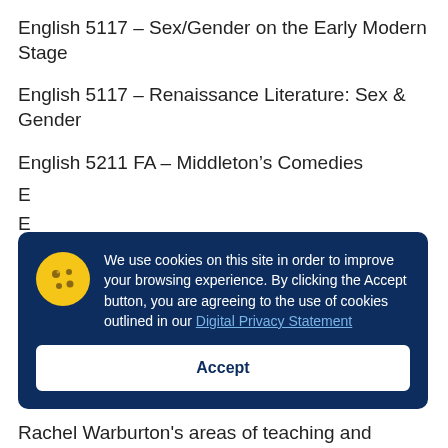English 5117 – Sex/Gender on the Early Modern Stage
English 5117 – Renaissance Literature: Sex & Gender
English 5211 FA – Middleton's Comedies
E…
E… L…
R…
[Figure (other): Cookie consent overlay with cookie icon, message about cookie usage, link to Digital Privacy Statement, and Accept button]
Rachel Warburton's areas of teaching and